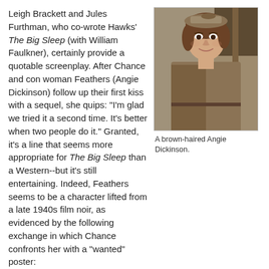Leigh Brackett and Jules Furthman, who co-wrote Hawks' The Big Sleep (with William Faulkner), certainly provide a quotable screenplay. After Chance and con woman Feathers (Angie Dickinson) follow up their first kiss with a sequel, she quips: "I'm glad we tried it a second time. It's better when two people do it." Granted, it's a line that seems more appropriate for The Big Sleep than a Western--but it's still entertaining. Indeed, Feathers seems to be a character lifted from a late 1940s film noir, as evidenced by the following exchange in which Chance confronts her with a "wanted" poster:
[Figure (photo): A brown-haired Angie Dickinson wearing a brown plaid suit jacket with a yellow blouse and a small hat, smiling.]
A brown-haired Angie Dickinson.
Feathers: This isn't the first time that handbill has come up. I'd like to know what to do about it.